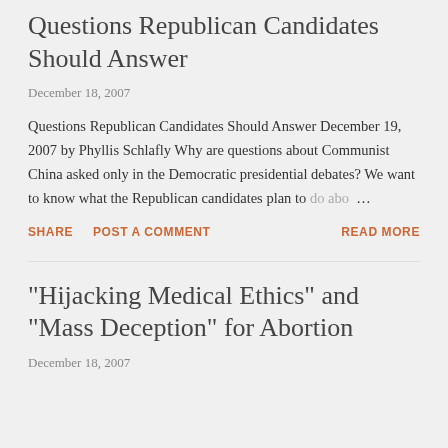Questions Republican Candidates Should Answer
December 18, 2007
Questions Republican Candidates Should Answer December 19, 2007 by Phyllis Schlafly Why are questions about Communist China asked only in the Democratic presidential debates? We want to know what the Republican candidates plan to do abo…
SHARE   POST A COMMENT   READ MORE
"Hijacking Medical Ethics" and "Mass Deception" for Abortion
December 18, 2007